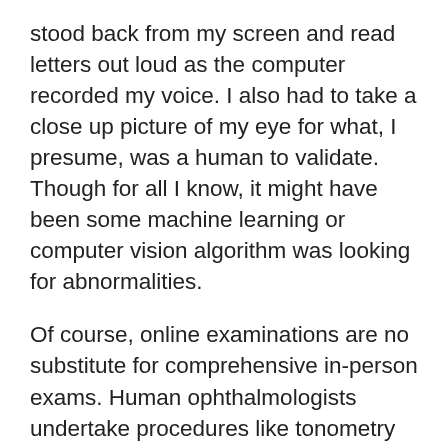stood back from my screen and read letters out loud as the computer recorded my voice. I also had to take a close up picture of my eye for what, I presume, was a human to validate. Though for all I know, it might have been some machine learning or computer vision algorithm was looking for abnormalities.
Of course, online examinations are no substitute for comprehensive in-person exams. Human ophthalmologists undertake procedures like tonometry (eye pressure) tests and pupil dilations. However, during a pandemic, I'm curious about how many routine procedures we might feel more comfortable outsourcing to robotic surrogates, only escalating to humans when there are signs of